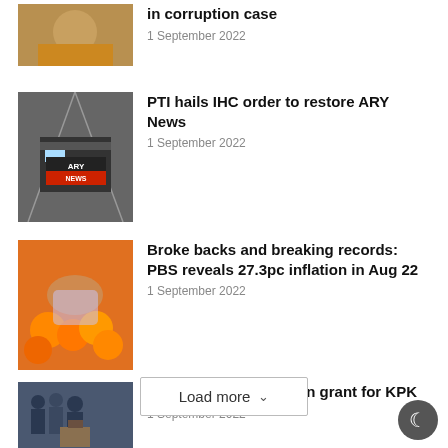[Figure (photo): Person in orange/yellow clothing, partially visible at top]
in corruption case
1 September 2022
[Figure (photo): ARY News van/vehicle with ARY NEWS sign]
PTI hails IHC order to restore ARY News
1 September 2022
[Figure (photo): Hands holding a plastic bag with oranges/produce at a market]
Broke backs and breaking records: PBS reveals 27.3pc inflation in Aug 22
1 September 2022
[Figure (photo): Group of men in dark clothing, one at a podium]
PM announces Rs.10bn grant for KPK
1 September 2022